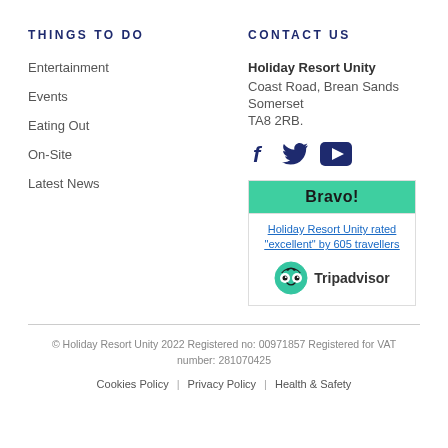THINGS TO DO
CONTACT US
Entertainment
Events
Eating Out
On-Site
Latest News
Holiday Resort Unity
Coast Road, Brean Sands
Somerset
TA8 2RB.
[Figure (logo): Social media icons: Facebook (f), Twitter (bird), YouTube (play button) in dark navy]
[Figure (infographic): Tripadvisor Bravo badge: green header 'Bravo!', text 'Holiday Resort Unity rated "excellent" by 605 travellers', Tripadvisor owl logo with 'Tripadvisor' wordmark]
© Holiday Resort Unity 2022 Registered no: 00971857 Registered for VAT number: 281070425
Cookies Policy | Privacy Policy | Health & Safety